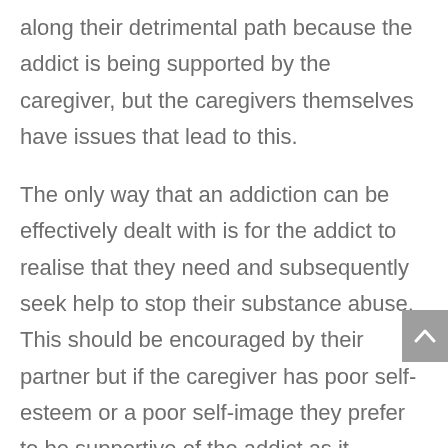along their detrimental path because the addict is being supported by the caregiver, but the caregivers themselves have issues that lead to this.
The only way that an addiction can be effectively dealt with is for the addict to realise that they need and subsequently seek help to stop their substance abuse. This should be encouraged by their partner but if the caregiver has poor self-esteem or a poor self-image they prefer to be supportive of the addict as it